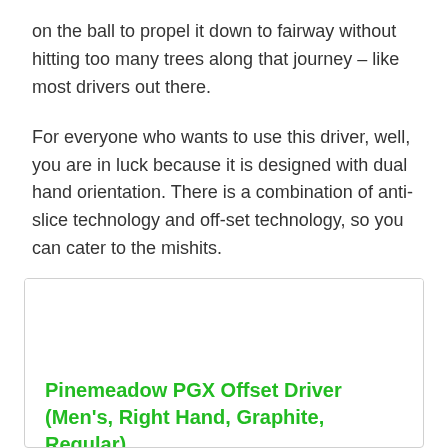on the ball to propel it down to fairway without hitting too many trees along that journey – like most drivers out there.
For everyone who wants to use this driver, well, you are in luck because it is designed with dual hand orientation. There is a combination of anti-slice technology and off-set technology, so you can cater to the mishits.
[Figure (other): Product card with white background image area and green bold title text reading: Pinemeadow PGX Offset Driver (Men's, Right Hand, Graphite, Regular)]
Pinemeadow PGX Offset Driver (Men's, Right Hand, Graphite, Regular)